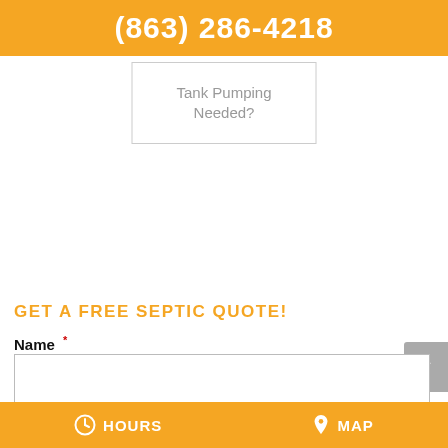(863) 286-4218
[Figure (other): A bordered box containing the text 'Tank Pumping Needed?' in gray]
GET A FREE SEPTIC QUOTE!
Name *
Email *
HOURS   MAP